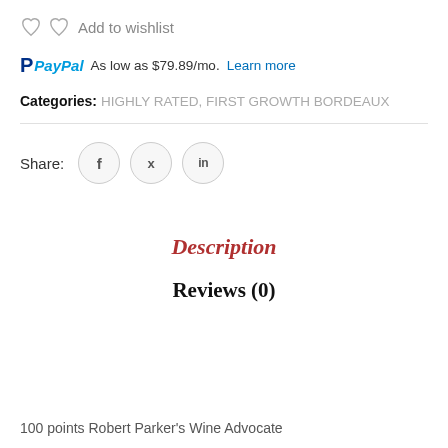Add to wishlist
PayPal As low as $79.89/mo. Learn more
Categories: HIGHLY RATED, FIRST GROWTH BORDEAUX
Share:
Description
Reviews (0)
100 points Robert Parker's Wine Advocate